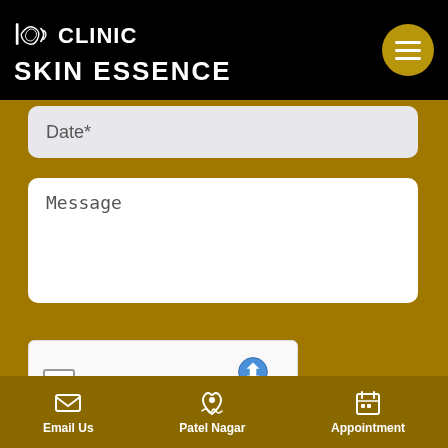CLINIC SKIN ESSENCE
Date*
Message
[Figure (screenshot): reCAPTCHA widget with checkbox labeled 'I'm not a robot', reCAPTCHA logo, Privacy and Terms links]
SUBMIT
Email Us   Patel Nagar   Appointment